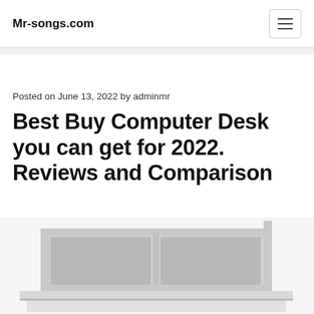Mr-songs.com
Posted on June 13, 2022 by adminmr
Best Buy Computer Desk you can get for 2022. Reviews and Comparison
[Figure (photo): Photo of a white/light gray computer desk with a hutch/shelf unit on top, showing two compartments divided by a center panel, viewed from a slightly elevated frontal angle.]